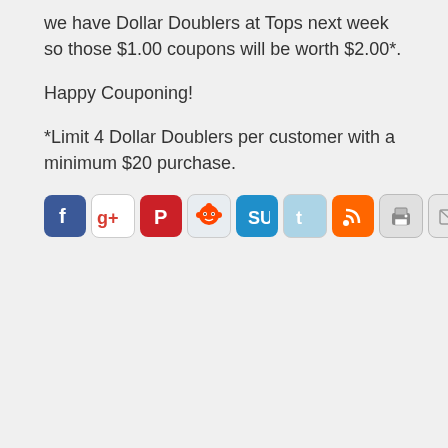we have Dollar Doublers at Tops next week so those $1.00 coupons will be worth $2.00*.
Happy Couponing!
*Limit 4 Dollar Doublers per customer with a minimum $20 purchase.
[Figure (infographic): Row of social media sharing icons: Facebook, Google+, Pinterest, Reddit, StumbleUpon, Twitter, RSS, Print, Email]